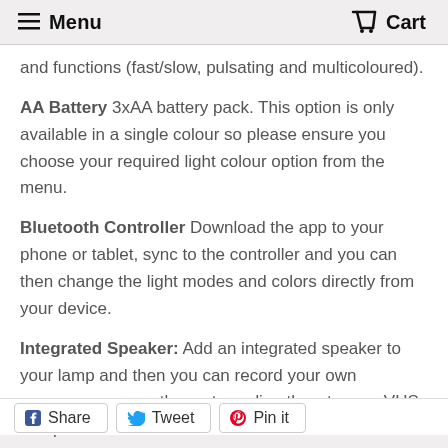Menu  Cart
and functions (fast/slow, pulsating and multicoloured).
AA Battery 3xAA battery pack. This option is only available in a single colour so please ensure you choose your required light colour option from the menu.
Bluetooth Controller Download the app to your phone or tablet, sync to the controller and you can then change the light modes and colors directly from your device.
Integrated Speaker: Add an integrated speaker to your lamp and then you can record your own message, song or theme tune directly onto your VHS Lamp.  Total of 30 seconds record time.  Each speaker battery provides approximately 200 playbacks.
Share  Tweet  Pin it